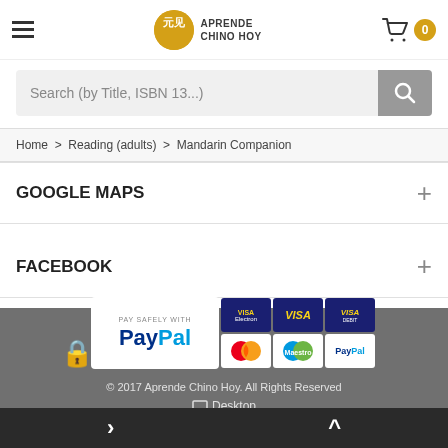Aprende Chino Hoy
Search (by Title, ISBN 13...)
Home > Reading (adults) > Mandarin Companion
GOOGLE MAPS
FACEBOOK
[Figure (logo): Pay safely with PayPal and card options including Visa Electron, Visa, Visa Debit, MasterCard, Maestro, PayPal]
© 2017 Aprende Chino Hoy. All Rights Reserved
Desktop